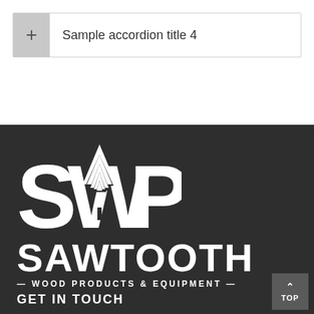Sample accordion title 4
[Figure (logo): Sawtooth Wood Products & Equipment logo. Large white letters SWP with a pine tree silhouette inside the W, followed by the word SAWTOOTH in bold white, and a tagline — WOOD PRODUCTS & EQUIPMENT — in white below.]
GET IN TOUCH